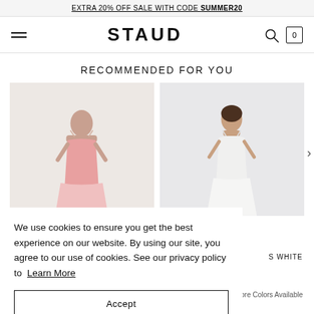EXTRA 20% OFF SALE WITH CODE SUMMER20
[Figure (screenshot): STAUD brand logo navigation bar with hamburger menu, search icon, and cart icon showing 0]
RECOMMENDED FOR YOU
[Figure (photo): Two fashion product photos side by side: left shows model in pink top on beige background, right shows model in white dress on light grey background]
We use cookies to ensure you get the best experience on our website. By using our site, you agree to our use of cookies. See our privacy policy to Learn More
Accept
S WHITE
$295
More Colors Available